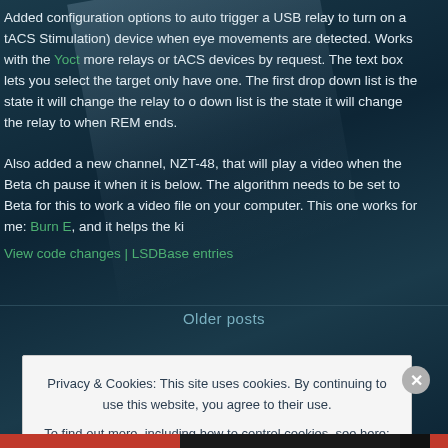Added configuration options to auto trigger a USB relay to turn on a tACS (Stimulation) device when eye movements are detected. Works with the Yoct... more relays or tACS devices by request. The text box lets you select the target... only have one. The first drop down list is the state it will change the relay to o... down list is the state it will change the relay to when REM ends.
Also added a new channel, NZT-48, that will play a video when the Beta ch... pause it when it is below. The algorithm needs to be set to Beta for this to work... a video file on your computer. This one works for me: Burn E, and it helps the ki...
View code changes | LSDBase entries
Older posts
Privacy & Cookies: This site uses cookies. By continuing to use this website, you agree to their use. To find out more, including how to control cookies, see here: Cookie Policy
Close and accept